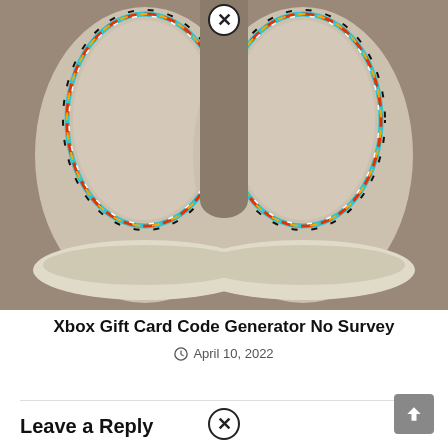[Figure (photo): Top-down view of two beige/tan slip-on shoes with colorful beaded trim (turquoise, red, orange, yellow, black, white) along the moccasin seam, placed on a concrete/stone surface. A circular close (X) button overlay appears at the top center of the image.]
Xbox Gift Card Code Generator No Survey
April 10, 2022
Leave a Reply